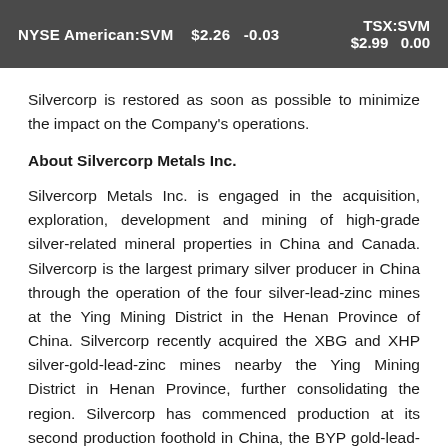NYSE American:SVM $2.26 -0.03    TSX:SVM $2.99 0.00
Silvercorp is restored as soon as possible to minimize the impact on the Company's operations.
About Silvercorp Metals Inc.
Silvercorp Metals Inc. is engaged in the acquisition, exploration, development and mining of high-grade silver-related mineral properties in China and Canada. Silvercorp is the largest primary silver producer in China through the operation of the four silver-lead-zinc mines at the Ying Mining District in the Henan Province of China. Silvercorp recently acquired the XBG and XHP silver-gold-lead-zinc mines nearby the Ying Mining District in Henan Province, further consolidating the region. Silvercorp has commenced production at its second production foothold in China, the BYP gold-lead-zinc project in Hunan